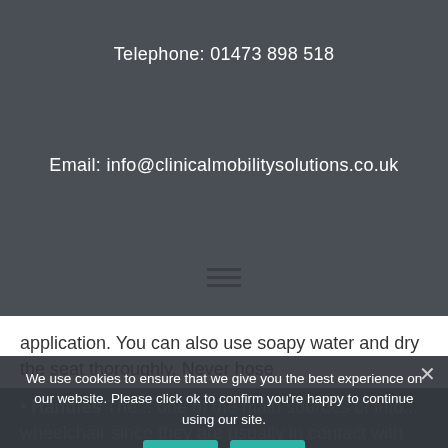Telephone: 01473 898 518
Email: info@clinicalmobilitysolutions.co.uk
[Figure (other): Hamburger menu icon — three horizontal dark lines centered on the page]
application. You can also use soapy water and dry the seat thoroughly. Never hose
Handles The ... one of the main sources of info... wheelchair since they are usually in contact with many
We use cookies to ensure that we give you the best experience on our website. Please click ok to confirm you're happy to continue using our site.